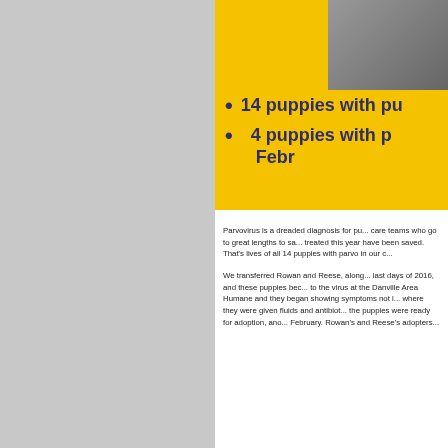[Figure (photo): Photo of a dog on a wooden deck or porch, partially visible in upper right of yellow box]
14 puppies with pu
4 puppies with p... Febr...
Parvovirus is a dreaded diagnosis for pu... care teams who go to great lengths to sa... treated this year have been saved. That's lives of all 14 puppies with parvo in our c...
We transferred Rowan and Reese, along... last days of 2016, and these puppies bec... to the virus at the Danville Area Humane and they began showing symptoms not l... where they were given fluids and antibiot... the puppies were ready for adoption, ano... February. Rowan's and Reese's adopters...